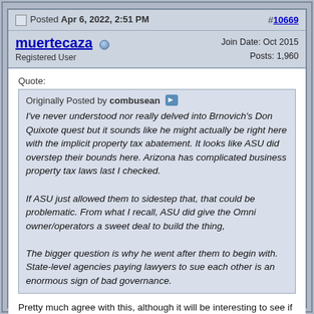Posted Apr 6, 2022, 2:51 PM  #10669
muertecaza  Registered User  Join Date: Oct 2015  Posts: 1,960
Quote:
Originally Posted by combusean
I've never understood nor really delved into Brnovich's Don Quixote quest but it sounds like he might actually be right here with the implicit property tax abatement. It looks like ASU did overstep their bounds here. Arizona has complicated business property tax laws last I checked.

If ASU just allowed them to sidestep that, that could be problematic. From what I recall, ASU did give the Omni owner/operators a sweet deal to build the thing,

The bigger question is why he went after them to begin with. State-level agencies paying lawyers to sue each other is an enormous sign of bad governance.
Pretty much agree with this, although it will be interesting to see if the AG's office can find the right legal theory to make whatever their point is. The Supreme Court confirmed the straightforward case in favor of ABOR: that the Omni land is not subject to state property taxes, and therefore the AG lacks a "tax" to be enforcing the...this litigation...